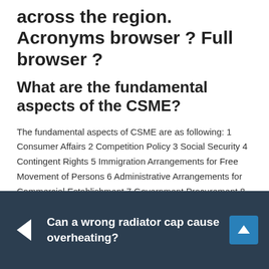across the region. Acronyms browser ? Full browser ?
What are the fundamental aspects of the CSME?
The fundamental aspects of CSME are as following: 1 Consumer Affairs 2 Competition Policy 3 Social Security 4 Contingent Rights 5 Immigration Arrangements for Free Movement of Persons 6 Administrative Arrangements for Commercial Establishment 7 Government Procurement 8 Trade and Competitiveness in CARICOM
Can a wrong radiator cap cause overheating?